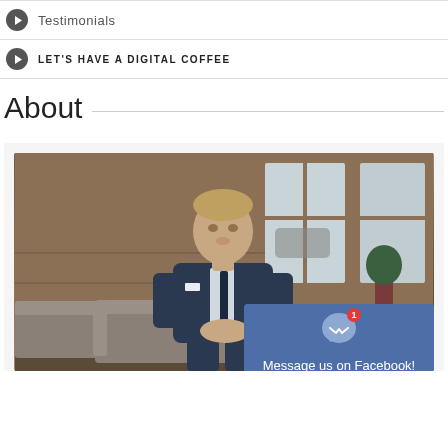Testimonials
LET'S HAVE A DIGITAL COFFEE
About
[Figure (photo): Professional headshot of a man in a dark navy suit with a tie, seated in a lounge/hotel setting with large windows and wooden furnishings in the background.]
Message us on Facebook!